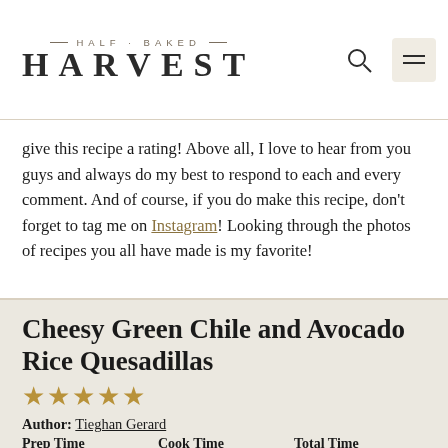HALF BAKED HARVEST
give this recipe a rating! Above all, I love to hear from you guys and always do my best to respond to each and every comment. And of course, if you do make this recipe, don't forget to tag me on Instagram! Looking through the photos of recipes you all have made is my favorite!
Cheesy Green Chile and Avocado Rice Quesadillas
★★★★★
Author: Tieghan Gerard
Prep Time: 20 MINUTES   Cook Time: 10 MINUTES   Total Time: 30 MINUTES